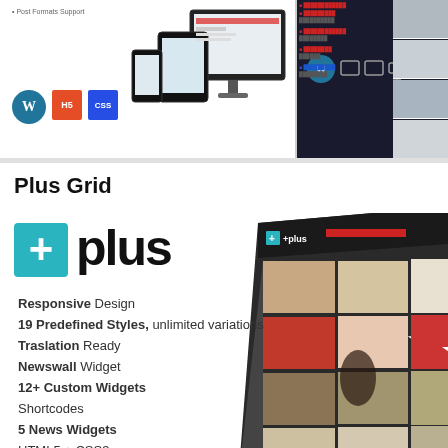[Figure (screenshot): Top banner showing responsive design mockups with WordPress, HTML5, CSS3 badges and device screenshots]
Plus Grid
[Figure (illustration): Plus WordPress theme promotional image showing the +plus logo with teal icon box, feature list, and 3D perspective screenshot of the theme grid layout]
Responsive Design
19 Predefined Styles, unlimited variations
Traslation Ready
Newswall Widget
12+ Custom Widgets
Shortcodes
5 News Widgets
HTML5 + CSS3